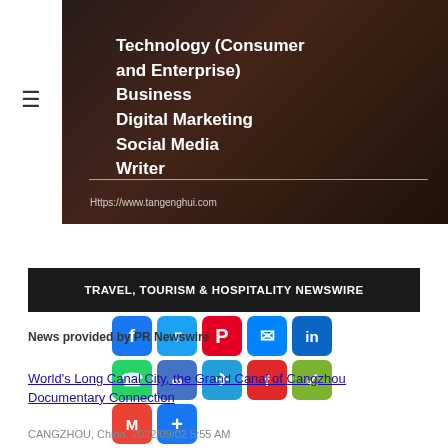[Figure (photo): Hero image of people working at a desk with laptops and notebooks, dark-toned with overlay text listing categories: Technology (Consumer and Enterprise), Business, Digital Marketing, Social Media, Writer. URL: Https://www.tangenghui.com]
Technology (Consumer and Enterprise)
Business
Digital Marketing
Social Media
Writer
TRAVEL, TOURISM & HOSPITALITY NEWSWIRE
[Figure (infographic): Social sharing icon buttons: Facebook, Twitter, Pinterest, Email, LinkedIn, WhatsApp, Copy, Telegram, Flipboard, WeChat, Gmail, Share/Plus]
News provided by PR Newswire
World's Long Canal City, the Grand Canal of Cangzhou Documentary Connection
CANGZHOU, China, 2022/09/02 5:55 AM